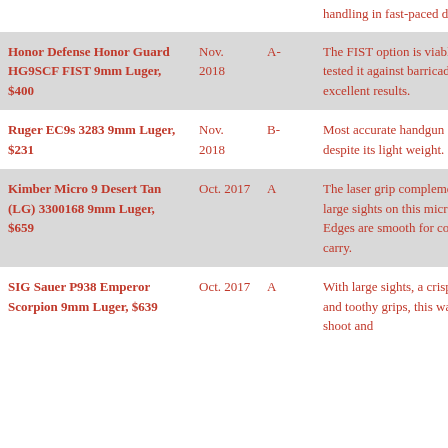| Gun | Date | Grade | Notes |
| --- | --- | --- | --- |
| (partial row — handling in fast-paced drills.) |  |  | handling in fast-paced drills. |
| Honor Defense Honor Guard HG9SCF FIST 9mm Luger, $400 | Nov. 2018 | A- | The FIST option is viable. We tested it against barricades with excellent results. |
| Ruger EC9s 3283 9mm Luger, $231 | Nov. 2018 | B- | Most accurate handgun of the test, despite its light weight. |
| Kimber Micro 9 Desert Tan (LG) 3300168 9mm Luger, $659 | Oct. 2017 | A | The laser grip complements the large sights on this micro pistol. Edges are smooth for concealed carry. |
| SIG Sauer P938 Emperor Scorpion 9mm Luger, $639 | Oct. 2017 | A | With large sights, a crisp trigger and toothy grips, this was easy to shoot and |